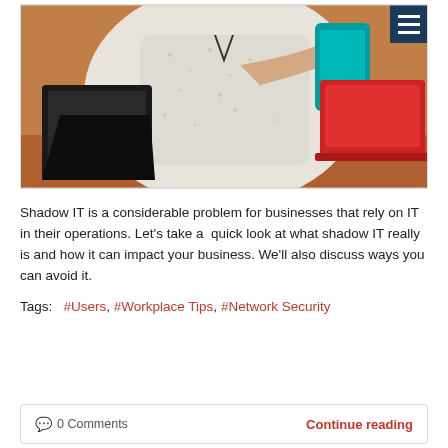[Figure (photo): Person in white patterned shirt holding a teal smartphone, seated at a table with a black tablet/iPad on the left and a red laptop on the right. Hamburger menu icon in dark navy blue in the top-right corner of the image.]
Shadow IT is a considerable problem for businesses that rely on IT in their operations. Let's take a  quick look at what shadow IT really is and how it can impact your business. We'll also discuss ways you can avoid it.
Tags:  #Users, #Workplace Tips, #Network Security
0 Comments   Continue reading